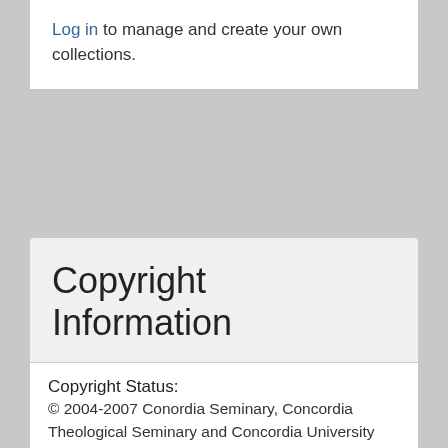Log in to manage and create your own collections.
Copyright Information
| Copyright Status: | © 2004-2007 Conordia Seminary, Concordia Theological Seminary and Concordia University Education Network. All rights reserved. Permission granted for personal, educational and parish use. |
| Copyright Holder: |  |
| Copyright Date: |  |
| Copyright Renewed On: |  |